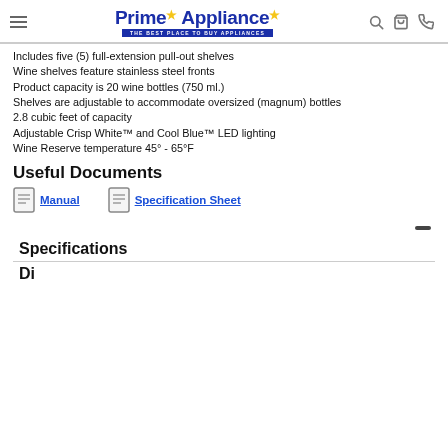Prime Appliance — THE BEST PLACE TO BUY APPLIANCES
Includes five (5) full-extension pull-out shelves
Wine shelves feature stainless steel fronts
Product capacity is 20 wine bottles (750 ml.)
Shelves are adjustable to accommodate oversized (magnum) bottles
2.8 cubic feet of capacity
Adjustable Crisp White™ and Cool Blue™ LED lighting
Wine Reserve temperature 45° - 65°F
Useful Documents
Manual  Specification Sheet
Specifications
Di…